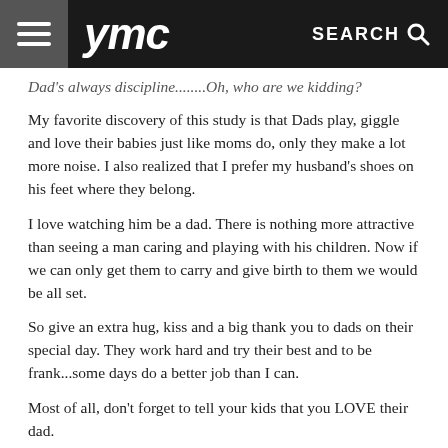ymc  SEARCH
Dad's always discipline........Oh, who are we kidding?
My favorite discovery of this study is that Dads play, giggle and love their babies just like moms do, only they make a lot more noise. I also realized that I prefer my husband's shoes on his feet where they belong.
I love watching him be a dad. There is nothing more attractive than seeing a man caring and playing with his children. Now if we can only get them to carry and give birth to them we would be all set.
So give an extra hug, kiss and a big thank you to dads on their special day. They work hard and try their best and to be frank...some days do a better job than I can.
Most of all, don't forget to tell your kids that you LOVE their dad.
Cheers,